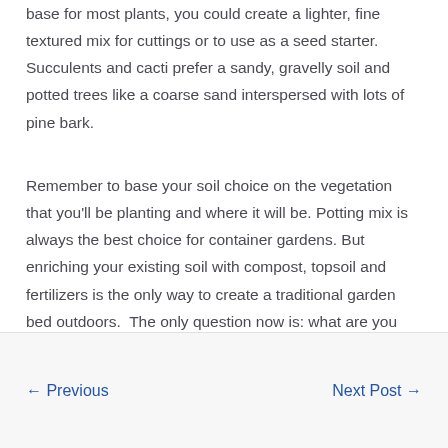base for most plants, you could create a lighter, fine textured mix for cuttings or to use as a seed starter. Succulents and cacti prefer a sandy, gravelly soil and potted trees like a coarse sand interspersed with lots of pine bark.
Remember to base your soil choice on the vegetation that you'll be planting and where it will be. Potting mix is always the best choice for container gardens. But enriching your existing soil with compost, topsoil and fertilizers is the only way to create a traditional garden bed outdoors.  The only question now is: what are you planting next?
← Previous    Next Post →